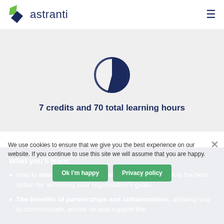astranti
[Figure (illustration): Pie chart icon showing approximately 3/4 filled segment, dark navy blue color, used as decorative graphic]
7 credits and 70 total learning hours
What you'll learn:
How to determine if a partnership or collaboration is the best option for achieving your organisation's goals.
The benefits of partnerships and collaborations, allowing you to communicate, advise on and support the
We use cookies to ensure that we give you the best experience on our website. If you continue to use this site we will assume that you are happy. Ok I'm happy | Privacy policy